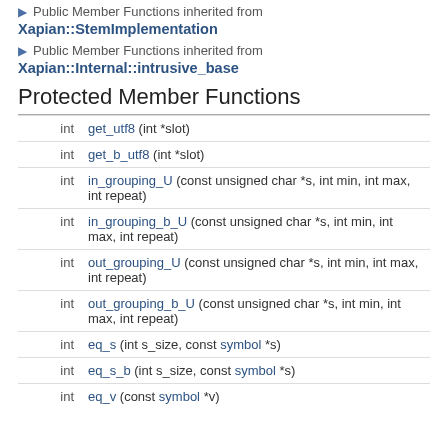▶ Public Member Functions inherited from Xapian::StemImplementation
▶ Public Member Functions inherited from Xapian::Internal::intrusive_base
Protected Member Functions
| type | function |
| --- | --- |
| int | get_utf8 (int *slot) |
| int | get_b_utf8 (int *slot) |
| int | in_grouping_U (const unsigned char *s, int min, int max, int repeat) |
| int | in_grouping_b_U (const unsigned char *s, int min, int max, int repeat) |
| int | out_grouping_U (const unsigned char *s, int min, int max, int repeat) |
| int | out_grouping_b_U (const unsigned char *s, int min, int max, int repeat) |
| int | eq_s (int s_size, const symbol *s) |
| int | eq_s_b (int s_size, const symbol *s) |
| int | eq_v (const symbol *v) |